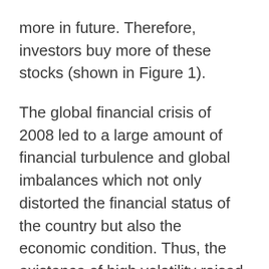more in future. Therefore, investors buy more of these stocks (shown in Figure 1).
The global financial crisis of 2008 led to a large amount of financial turbulence and global imbalances which not only distorted the financial status of the country but also the economic condition. Thus, the existence of high volatility raised the risk probability for the investor along with decreasing the earning opportunity for investors (Dullien et al., 2010). As the performance of each stock varies with